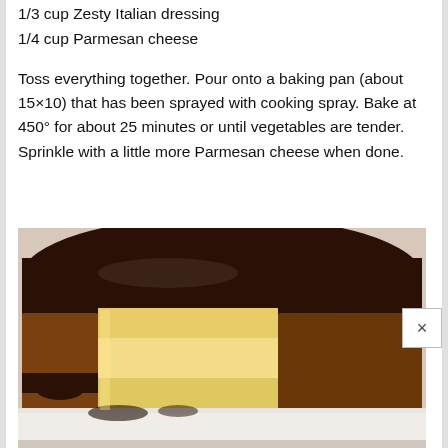1/3 cup Zesty Italian dressing
1/4 cup Parmesan cheese
Toss everything together. Pour onto a baking pan (about 15×10) that has been sprayed with cooking spray. Bake at 450° for about 25 minutes or until vegetables are tender. Sprinkle with a little more Parmesan cheese when done.
[Figure (photo): A chocolate-glazed cake with a slice cut out, revealing a yellow/vanilla interior. The cake sits on a white plate. Below is a partially visible second image.]